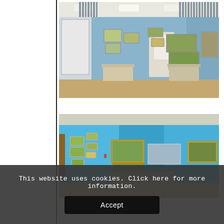[Figure (photo): Interior of an art gallery with blue walls. Framed landscape paintings hang on the walls. Display pedestals are visible in the center. Books or prints are arranged along the upper walls near the ceiling. Wooden floor. Bright recessed lighting in the ceiling.]
[Figure (photo): Interior of an art gallery with bright blue walls. Multiple framed landscape paintings with gold and white frames hang on the walls. A display case or pedestal is in the foreground. The room is well-lit.]
This website uses cookies. Click here for more information.
Accept